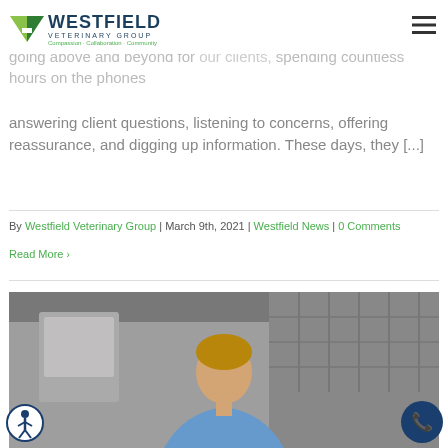Westfield Veterinary Group | Compassion · Collaboration · Community
service representatives. As our in-person client communications have been limited due to the [pandemic, our CSRs have] been going above and beyond for [our clients,] spending countless hours on the phones answering client questions, listening to concerns, offering reassurance, and digging up information. These days, they [...]
By Westfield Veterinary Group | March 9th, 2021 | Westfield News | 0 Comments
Read More >
[Figure (photo): Photo of a person in a veterinary clinic setting, shown from the torso up with blurred background of clinic equipment.]